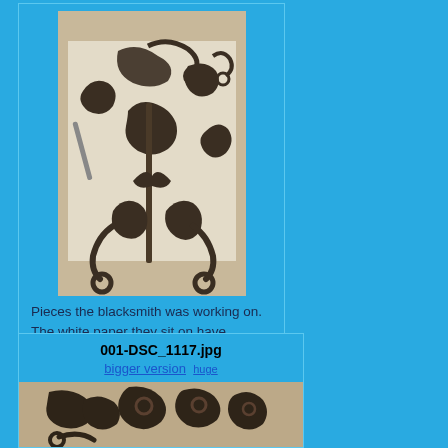[Figure (photo): Photograph of decorative wrought iron blacksmith pieces laid out on white paper on a workbench. Various scrollwork and ornamental iron components visible.]
Pieces the blacksmith was working on. The white paper they sit on have...(more)
001-DSC_1117.jpg
bigger version huge
[Figure (photo): Partial photograph of wrought iron blacksmith pieces, close-up view showing scrollwork details on a sandy/dusty surface.]